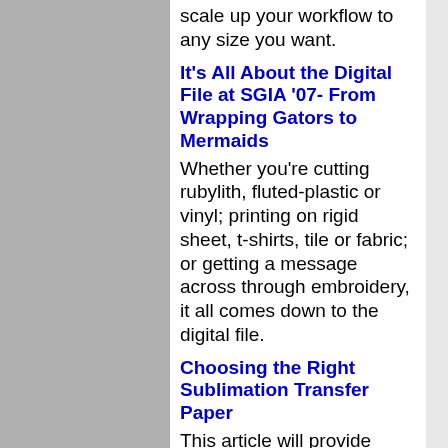scale up your workflow to any size you want.
It's All About the Digital File at SGIA '07- From Wrapping Gators to Mermaids
Whether you're cutting rubylith, fluted-plastic or vinyl; printing on rigid sheet, t-shirts, tile or fabric; or getting a message across through embroidery, it all comes down to the digital file.
Choosing the Right Sublimation Transfer Paper
This article will provide objectivity for choosing the right sublimation transfer paper, based upon the insight of dye sublimation experts professional collective experience.
Apparel Decorating Trends & Techniques for Digital and Sublimation Transfers
Recent trends of a flat decorated garment market have